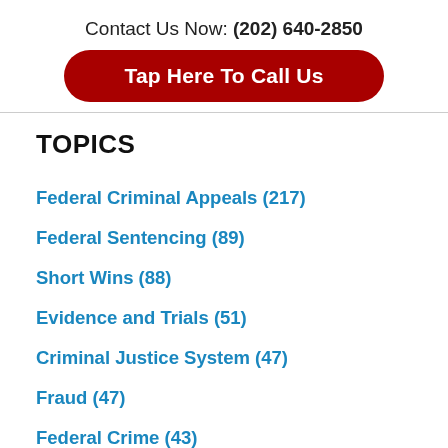Contact Us Now: (202) 640-2850
Tap Here To Call Us
TOPICS
Federal Criminal Appeals (217)
Federal Sentencing (89)
Short Wins (88)
Evidence and Trials (51)
Criminal Justice System (47)
Fraud (47)
Federal Crime (43)
How We Treat People (33)
Interpreting Statutes (31)